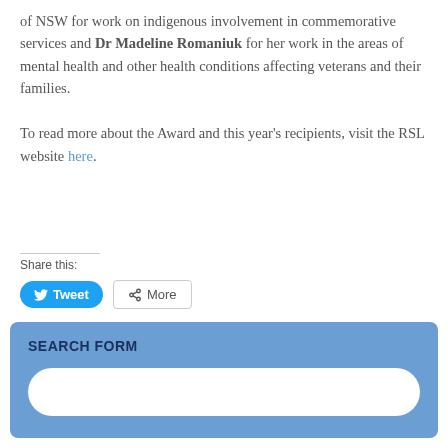of NSW for work on indigenous involvement in commemorative services and Dr Madeline Romaniuk for her work in the areas of mental health and other health conditions affecting veterans and their families.

To read more about the Award and this year's recipients, visit the RSL website here.
Share this:
[Figure (screenshot): Social share buttons: Tweet (Twitter) and More]
SEARCH FORM
[Figure (screenshot): Search input field with rounded corners on a blue background]